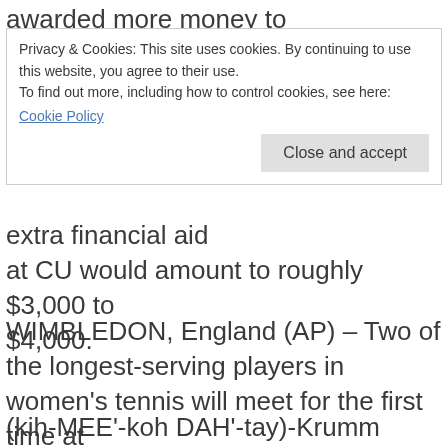awarded more money to
Privacy & Cookies: This site uses cookies. By continuing to use this website, you agree to their use.
To find out more, including how to control cookies, see here:
Cookie Policy
extra financial aid
at CU would amount to roughly $3,000 to $4,000.
WIMBLEDON, England (AP) – Two of the longest-serving players in women's tennis will meet for the first time at
(kih-MEE'-koh DAH'-tay)-Krumm made her first appearance at the All-